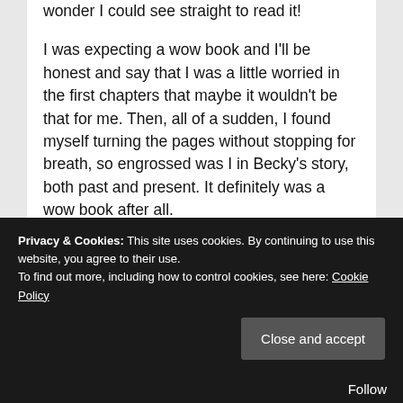wonder I could see straight to read it!

I was expecting a wow book and I'll be honest and say that I was a little worried in the first chapters that maybe it wouldn't be that for me. Then, all of a sudden, I found myself turning the pages without stopping for breath, so engrossed was I in Becky's story, both past and present. It definitely was a wow book after all.

I had a feeling about how things were going to turn out and I was right but that doesn't take anything away from the plotting. We don't all need major twists; a well-written story is enough. The power of this story is in considering
Privacy & Cookies: This site uses cookies. By continuing to use this website, you agree to their use.
To find out more, including how to control cookies, see here: Cookie Policy
Close and accept
Follow